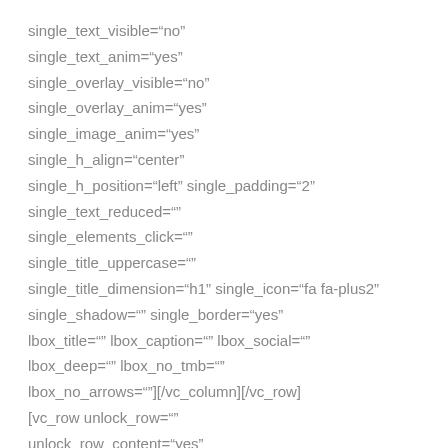single_text_visible="no"
single_text_anim="yes"
single_overlay_visible="no"
single_overlay_anim="yes"
single_image_anim="yes"
single_h_align="center"
single_h_position="left" single_padding="2"
single_text_reduced=""
single_elements_click=""
single_title_uppercase=""
single_title_dimension="h1" single_icon="fa fa-plus2" single_shadow="" single_border="yes"
lbox_title="" lbox_caption="" lbox_social=""
lbox_deep="" lbox_no_tmb=""
lbox_no_arrows=""][/vc_column][/vc_row]
[vc_row unlock_row=""
unlock_row_content="yes"